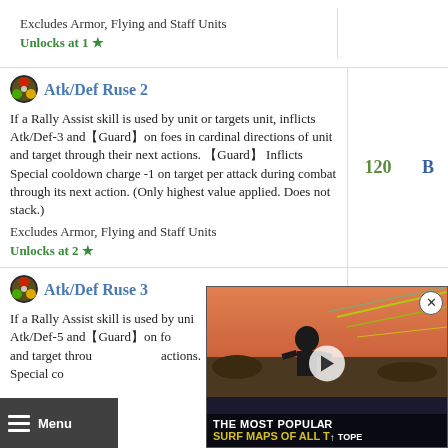Excludes Armor, Flying and Staff Units
Unlocks at 1 ★
Atk/Def Ruse 2
If a Rally Assist skill is used by unit or targets unit, inflicts Atk/Def-3 and【Guard】on foes in cardinal directions of unit and target through their next actions. 【Guard】 Inflicts Special cooldown charge -1 on target per attack during combat through its next action. (Only highest value applied. Does not stack.)
Excludes Armor, Flying and Staff Units
Unlocks at 2 ★
Atk/Def Ruse 3
If a Rally Assist skill is used by unit or targets unit, inflicts Atk/Def-5 and【Guard】on foes in cardinal directions of unit and target through their next actions. 【Guard】 Inflicts Special cooldown charge
[Figure (screenshot): Advertisement overlay showing a person in a gas mask with laser effects, text reading 'THE MOST POPULAR SURF MAPS OF ALL TIME']